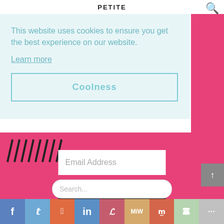PETITE
This website uses cookies to ensure you get the best experience on our website.
Learn more
Coolness
Email Address
SUBSCRIBE
[Figure (illustration): Diagonal black slash marks decorative element]
Search...
[Figure (infographic): Social media sharing icons bar: Facebook, Twitter, Reddit, LinkedIn, Pinterest, MeWe, Mix, WhatsApp, More]